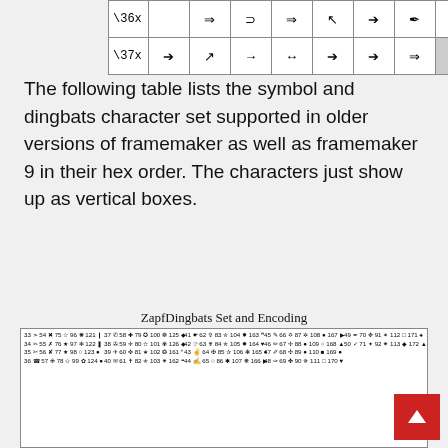|  | col1 | col2 | col3 | col4 | col5 | col6 | col7 | col8 |
| --- | --- | --- | --- | --- | --- | --- | --- | --- |
| \36x |  | ⇒ | ⊃ | ⇒ | ↖ | ➔ | ✎ | ☛ |
| \37x | ➔ | ↗ | → | ↔ | ➔ | ➔ | ⇒ |  |
The following table lists the symbol and dingbats character set supported in older versions of framemaker as well as framemaker 9 in their hex order. The characters just show up as vertical boxes.
ZapfDingbats Set and Encoding
[Figure (table-as-image): ZapfDingbats character set table showing decimal codes and corresponding symbols in columns]